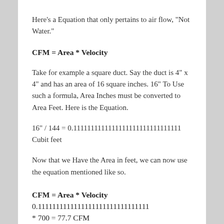Here's a Equation that only pertains to air flow, "Not Water."
Take for example a square duct. Say the duct is 4" x 4" and has an area of 16 square inches. 16" To Use such a formula, Area Inches must be converted to Area Feet. Here is the Equation.
Now that we Have the Area in feet, we can now use the equation mentioned like so.